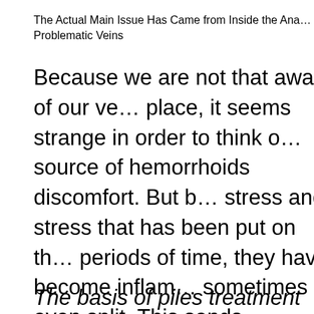The Actual Main Issue Has Came from Inside the Ana... Problematic Veins
Because we are not that aware of our ve... place, it seems strange in order to think o... source of hemorrhoids discomfort. But b... stress and stress that has been put on th... periods of time, they have become inflam... sometimes even split. This sends signals... that something is not as it should be with... result: hemorrhoids pain.
The basis of piles treatment can be the s...